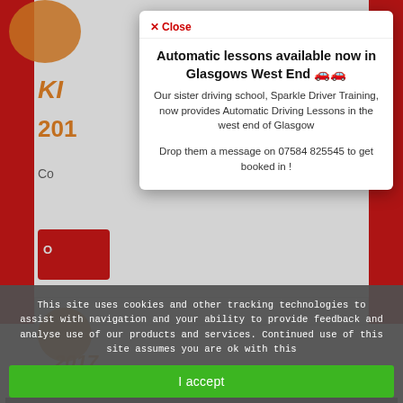[Figure (screenshot): Background of a driving school website with red side borders, orange circle logo, partial text 'KI', '2017', 'Co...', a red button, and bottom card area.]
Automatic lessons available now in Glasgows West End 🚗🚗
Our sister driving school, Sparkle Driver Training, now provides Automatic Driving Lessons in the west end of Glasgow
Drop them a message on 07584 825545 to get booked in !
This site uses cookies and other tracking technologies to assist with navigation and your ability to provide feedback and analyse use of our products and services. Continued use of this site assumes you are ok with this
I accept